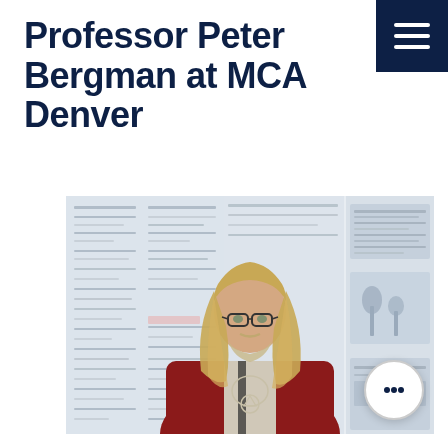Professor Peter Bergman at MCA Denver
[Figure (photo): A man with long wavy blond hair, glasses, and a beard wearing a dark red cardigan and a necklace with a circular pendant, standing in front of large wall-mounted panels covered with printed documents and images.]